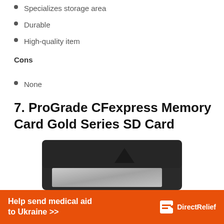Specializes storage area
Durable
High-quality item
Cons
None
7. ProGrade CFexpress Memory Card Gold Series SD Card
[Figure (photo): ProGrade CFexpress Memory Card Gold Series SD Card - black rectangular card with a triangle marker and silver contact area]
Help send medical aid to Ukraine >>